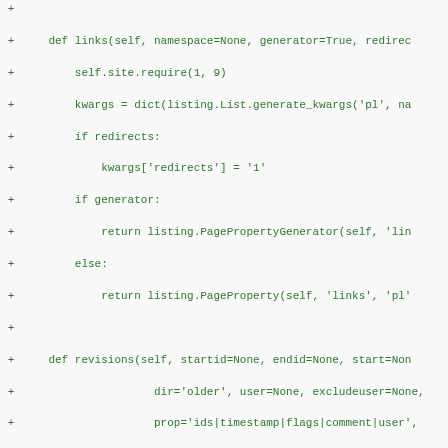[Figure (screenshot): A code diff snippet showing Python class methods (links, revisions, templates) with green '+' diff markers on a light gray background. Code is in green monospace font.]